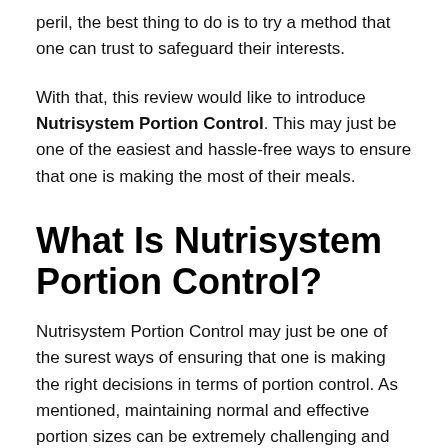peril, the best thing to do is to try a method that one can trust to safeguard their interests.
With that, this review would like to introduce Nutrisystem Portion Control. This may just be one of the easiest and hassle-free ways to ensure that one is making the most of their meals.
What Is Nutrisystem Portion Control?
Nutrisystem Portion Control may just be one of the surest ways of ensuring that one is making the right decisions in terms of portion control. As mentioned, maintaining normal and effective portion sizes can be extremely challenging and now, men and women may just have the support that they need to ensure that they aren't going beyond the bounds of what is